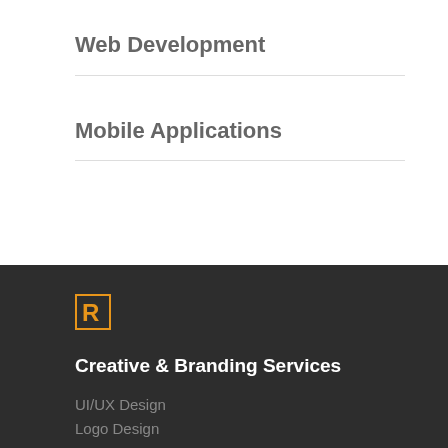Web Development
Mobile Applications
[Figure (logo): Orange letter R logo mark on dark background]
Creative & Branding Services
UI/UX Design
Logo Design